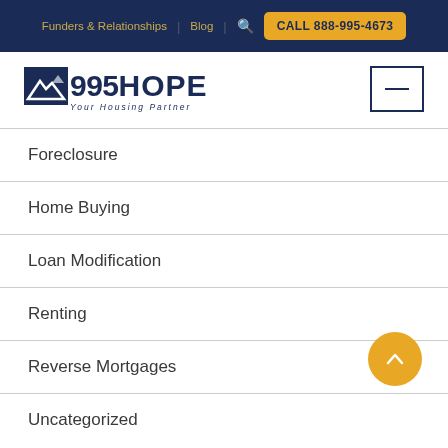Funders & Relationships | Blog | 🔍 | CALL 888-995-4673
[Figure (logo): 995HOPE Your Housing Partner logo with mountain/house icon]
Foreclosure
Home Buying
Loan Modification
Renting
Reverse Mortgages
Uncategorized